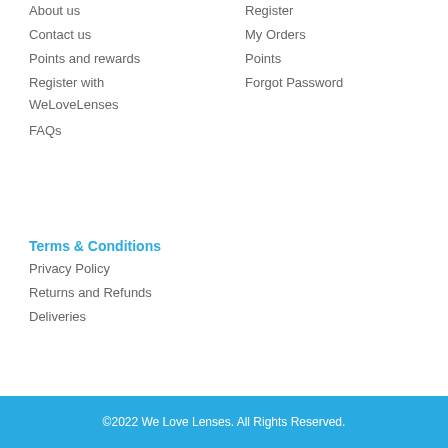About us
Contact us
Points and rewards
Register with WeLoveLenses
FAQs
Register
My Orders
Points
Forgot Password
Terms & Conditions
Privacy Policy
Returns and Refunds
Deliveries
©2022 We Love Lenses. All Rights Reserved.